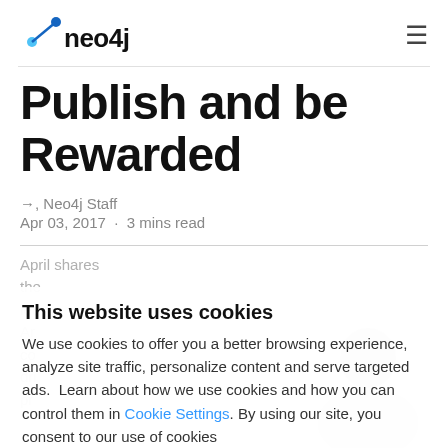neo4j
Publish and be Rewarded
→, Neo4j Staff
Apr 03, 2017 · 3 mins read
April shares the lett Ar co dri pr consent to our use of cookies
This website uses cookies
We use cookies to offer you a better browsing experience, analyze site traffic, personalize content and serve targeted ads.  Learn about how we use cookies and how you can control them in Cookie Settings. By using our site, you consent to our use of cookies